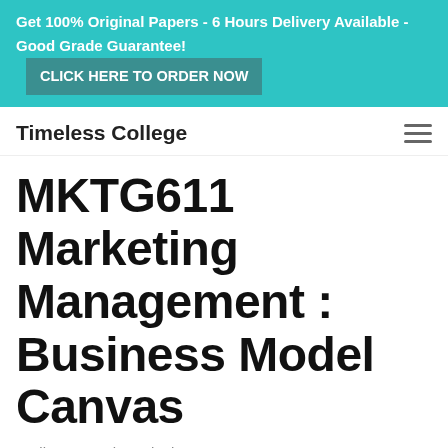Get 100% Original Papers - 6 Hours Delivery Available - Good Grade Guarantee! CLICK HERE TO ORDER NOW
Timeless College
MKTG611 Marketing Management : Business Model Canvas
April 15, 2022 by B3ln4iNmum
Get 30% Off + $20 Signup Bonus ! Limited Time, Hurry !